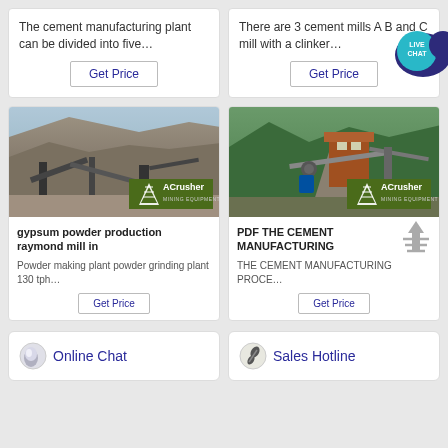The cement manufacturing plant can be divided into five…
There are 3 cement mills A B and C mill with a clinker…
[Figure (photo): Outdoor quarry/mining site with conveyor belts and heavy machinery, ACrusher Mining Equipment logo overlay]
gypsum powder production raymond mill in
Powder making plant powder grinding plant 130 tph…
[Figure (photo): Industrial mining/crushing equipment in mountainous area, ACrusher Mining Equipment logo overlay]
PDF THE CEMENT MANUFACTURING
THE CEMENT MANUFACTURING PROCE…
Online Chat
Sales Hotline